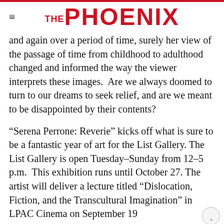THE PHOENIX
and again over a period of time, surely her view of the passage of time from childhood to adulthood changed and informed the way the viewer interprets these images.  Are we always doomed to turn to our dreams to seek relief, and are we meant to be disappointed by their contents?
“Serena Perrone: Reverie” kicks off what is sure to be a fantastic year of art for the List Gallery. The List Gallery is open Tuesday–Sunday from 12–5 p.m.  This exhibition runs until October 27. The artist will deliver a lecture titled “Dislocation, Fiction, and the Transcultural Imagination” in LPAC Cinema on September 19